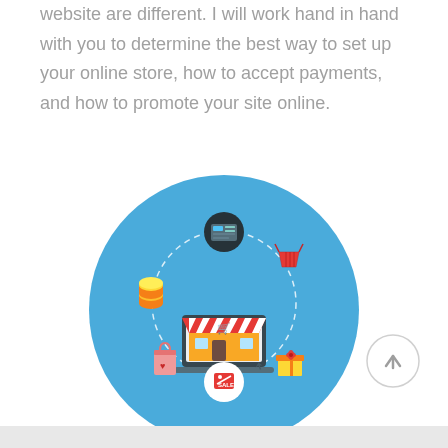website are different. I will work hand in hand with you to determine the best way to set up your online store, how to accept payments, and how to promote your site online.
[Figure (illustration): E-commerce infographic illustration: a blue circle containing a central laptop with a shopping cart icon and a store awning, surrounded by icons connected by dashed lines — a credit card/screen icon at the top, a shopping basket (top right), a gift box (bottom right), a sale tag (bottom center), and a shopping bag (bottom left), and coins (left).]
[Figure (other): Circular scroll-to-top button with an upward arrow, light gray border, white background.]